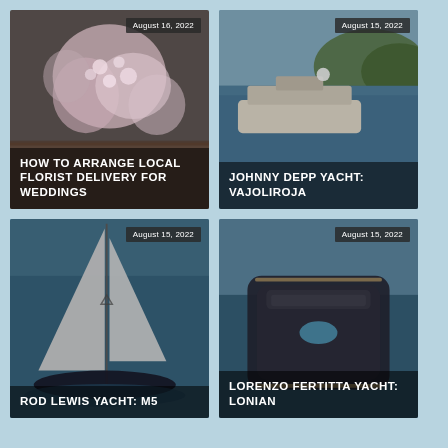[Figure (photo): Flowers arrangement photo with overlay text: How To Arrange Local Florist Delivery For Weddings, dated August 16, 2022]
[Figure (photo): Yacht on water photo with overlay text: Johnny Depp Yacht: Vajoliroja, dated August 15, 2022]
[Figure (photo): Sailing yacht aerial photo with overlay text: Rod Lewis Yacht: M5, dated August 15, 2022]
[Figure (photo): Large luxury yacht aerial photo with overlay text: Lorenzo Fertitta Yacht: Lonian, dated August 15, 2022]